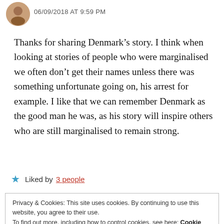06/09/2018 AT 9:59 PM
Thanks for sharing Denmark’s story. I think when looking at stories of people who were marginalised we often don’t get their names unless there was something unfortunate going on, his arrest for example. I like that we can remember Denmark as the good man he was, as his story will inspire others who are still marginalised to remain strong.
★ Liked by 3 people
Privacy & Cookies: This site uses cookies. By continuing to use this website, you agree to their use.
To find out more, including how to control cookies, see here: Cookie Policy
Close and accept
I responded on your blog as I felt interesting site could benefit. Thanks for sharing it. I looked at